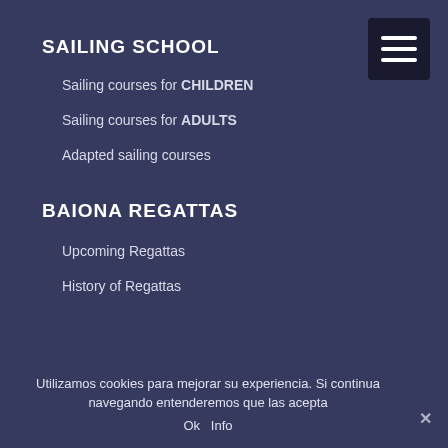SAILING SCHOOL
Sailing courses for CHILDREN
Sailing courses for ADULTS
Adapted sailing courses
BAIONA REGATTAS
Upcoming Regattas
History of Regattas
Utilizamos cookies para mejorar su experiencia. Si continua navegando entenderemos que las acepta
Ok  Info